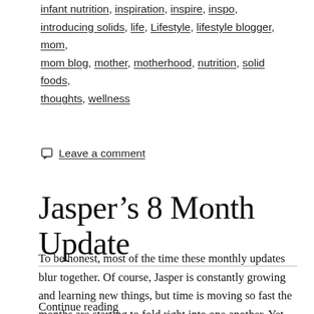infant nutrition, inspiration, inspire, inspo, introducing solids, life, Lifestyle, lifestyle blogger, mom, mom blog, mother, motherhood, nutrition, solid foods, thoughts, wellness
Leave a comment
Jasper’s 8 Month Update
To be honest, most of the time these monthly updates blur together. Of course, Jasper is constantly growing and learning new things, but time is moving so fast the months are starting to fold right into one another. Yet, at the same time, there is always so much to document in just one month’s time.
Continue reading